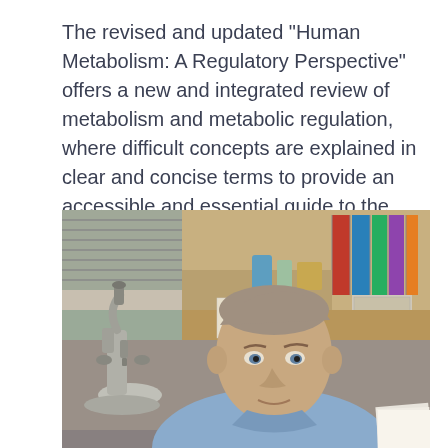The revised and updated "Human Metabolism: A Regulatory Perspective" offers a new and integrated review of metabolism and metabolic regulation, where difficult concepts are explained in clear and concise terms to provide an accessible and essential guide to the topic.
[Figure (photo): A middle-aged man with short grey-brown hair wearing a light blue shirt, seated in a laboratory setting with a microscope visible on the left and shelves with books, files, and equipment in the background.]